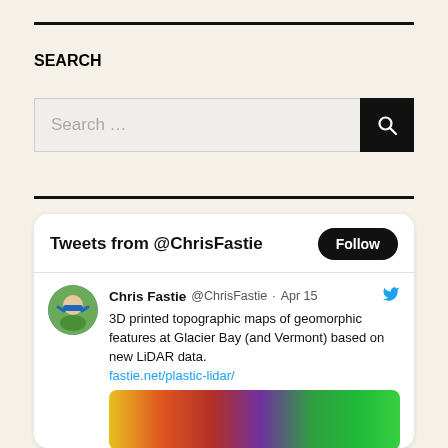SEARCH
[Figure (screenshot): Search bar with text input placeholder 'Search ...' and a black search button with magnifying glass icon]
[Figure (screenshot): Twitter/X embedded widget showing tweets from @ChrisFastie with a Follow button. Tweet by Chris Fastie @ChrisFastie · Apr 15: '3D printed topographic maps of geomorphic features at Glacier Bay (and Vermont) based on new LiDAR data. fastie.net/plastic-lidar/' with a colorful topographic map image below.]